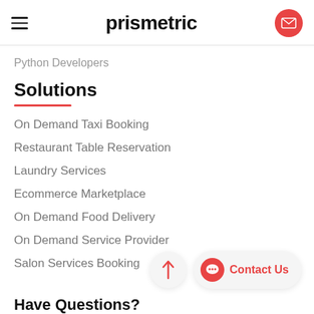prismetric
Python Developers
Solutions
On Demand Taxi Booking
Restaurant Table Reservation
Laundry Services
Ecommerce Marketplace
On Demand Food Delivery
On Demand Service Provider
Salon Services Booking
Have Questions?